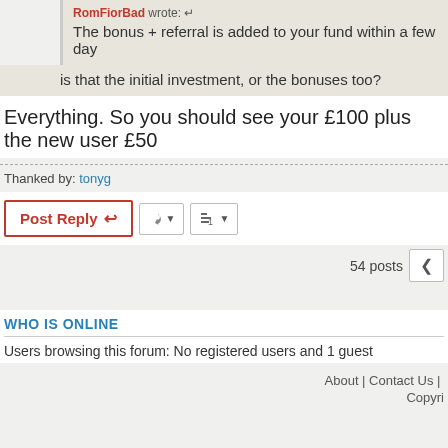RomFiorBad wrote: The bonus + referral is added to your fund within a few day
is that the initial investment, or the bonuses too?
Everything. So you should see your £100 plus the new user £50
Thanked by: tonyg
[Figure (screenshot): Post Reply button and toolbar buttons]
54 posts
WHO IS ONLINE
Users browsing this forum: No registered users and 1 guest
About | Contact Us | Copyright